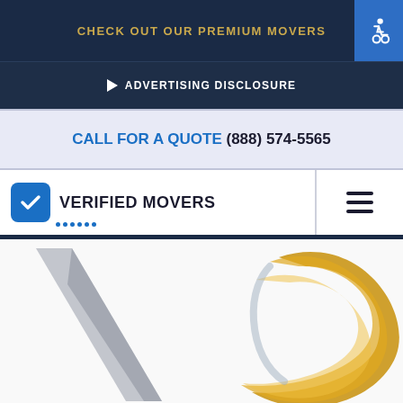CHECK OUT OUR PREMIUM MOVERS
▶ ADVERTISING DISCLOSURE
CALL FOR A QUOTE (888) 574-5565
[Figure (logo): Verified Movers logo with blue checkmark icon and text]
[Figure (logo): Large stylized VC letters logo in gold and silver tones on white background]